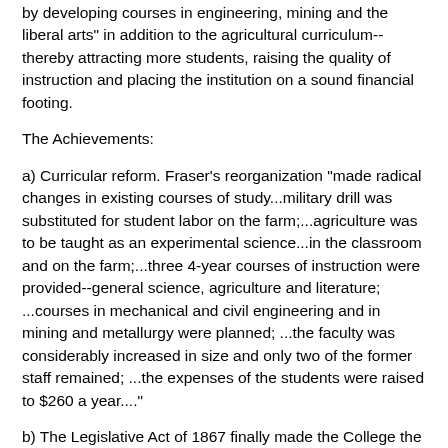The challenge: "[T]o carry out the intent of the Morrill Act by developing courses in engineering, mining and the liberal arts" in addition to the agricultural curriculum--thereby attracting more students, raising the quality of instruction and placing the institution on a sound financial footing.
The Achievements:
a) Curricular reform. Fraser's reorganization "made radical changes in existing courses of study...military drill was substituted for student labor on the farm;...agriculture was to be taught as an experimental science...in the classroom and on the farm;...three 4-year courses of instruction were provided--general science, agriculture and literature; ...courses in mechanical and civil engineering and in mining and metallurgy were planned; ...the faculty was considerably increased in size and only two of the former staff remained; ...the expenses of the students were raised to $260 a year..."
b) The Legislative Act of 1867 finally made the College the sole beneficiary in Pennsylvania of the income from the endowment created by the sale of the land-grant scrip, and authorized the use of the remaining two-thirds of the income...